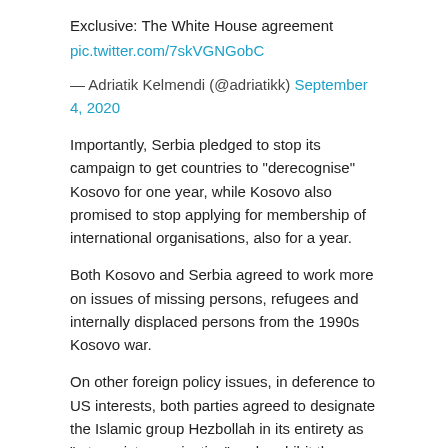Exclusive: The White House agreement
pic.twitter.com/7skVGNGobC
— Adriatik Kelmendi (@adriatikk) September 4, 2020
Importantly, Serbia pledged to stop its campaign to get countries to "derecognise" Kosovo for one year, while Kosovo also promised to stop applying for membership of international organisations, also for a year.
Both Kosovo and Serbia agreed to work more on issues of missing persons, refugees and internally displaced persons from the 1990s Kosovo war.
On other foreign policy issues, in deference to US interests, both parties agreed to designate the Islamic group Hezbollah in its entirety as "a terrorist organisation" and prohibit the use of "5G equipment supplied by untrusted vendors in their communications network", presumably referencing China.